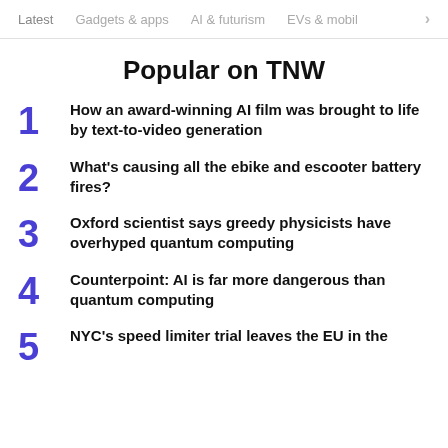Latest   Gadgets & apps   AI & futurism   EVs & mobil  >
Popular on TNW
How an award-winning AI film was brought to life by text-to-video generation
What's causing all the ebike and escooter battery fires?
Oxford scientist says greedy physicists have overhyped quantum computing
Counterpoint: AI is far more dangerous than quantum computing
NYC's speed limiter trial leaves the EU in the